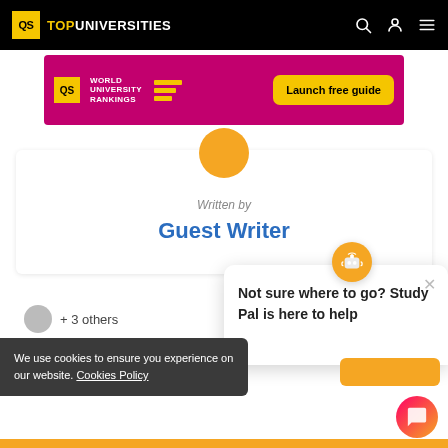QS TOP UNIVERSITIES
[Figure (screenshot): QS World University Rankings banner with 'Launch free guide' button on pink/magenta background]
Written by
Guest Writer
+ 3 others
We use cookies to ensure you experience on our website. Cookies Policy
Not sure where to go? Study Pal is here to help